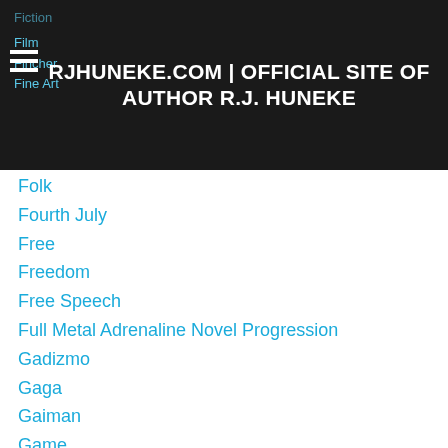RJHUNEKE.COM | OFFICIAL SITE OF AUTHOR R.J. HUNEKE
Folk
Fourth July
Free
Freedom
Free Speech
Full Metal Adrenaline Novel Progression
Gadizmo
Gaga
Gaiman
Game
Game Of Thrones
Games
Gaming
Gandhi
Garth Nix